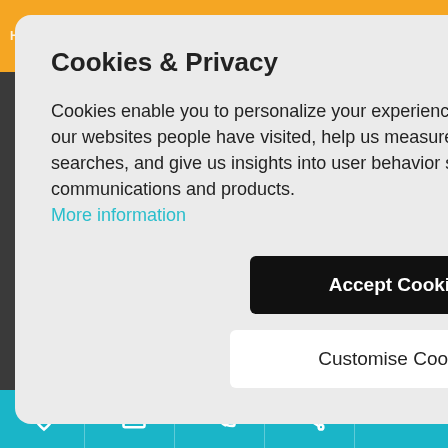Home  Properties  Our Services  Property Watch  Favorites
Cookies & Privacy
Cookies enable you to personalize your experience on our site, tell us which parts of our websites people have visited, help us measure the effectiveness of ads and web searches, and give us insights into user behavior so we can improve our communications and products.
More information
Accept Cookies
Customise Cookies
of Cookies | Privacy
by Mediaelx
Villamartin Spain
ale in Villamartin
ain
es in Punta Prima
a Costa
in Punta Prima
a Costa
n Orihuela Costa
ain
in Orihuela Costa
ain
ale in Torrevieja
ain
ale in Torrevieja
heart | mail | phone | share | up